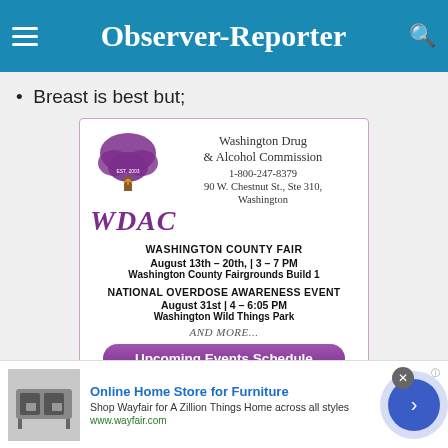Observer-Reporter
Breast is best but;
[Figure (infographic): Washington Drug & Alcohol Commission (WDAC) advertisement showing logo with tree, contact info (1-800-247-8379, 90 W. Chestnut St., Ste 310, Washington), Washington County Fair event (August 13th-20th, 3-7 PM, Washington County Fairgrounds Build 1), National Overdose Awareness Event (August 31st, 4-6:05 PM, Washington Wild Things Park), AND MORE..., Upcoming Events Schedule button]
[Figure (infographic): Online Home Store for Furniture advertisement for Wayfair. Text: Shop Wayfair for A Zillion Things Home across all styles. www.wayfair.com. Shows furniture image on left and arrow button on right.]